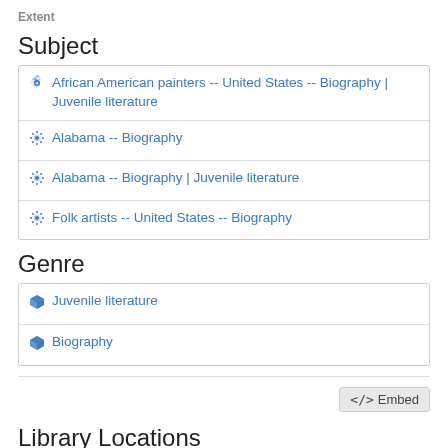Extent
Subject
African American painters -- United States -- Biography | Juvenile literature
Alabama -- Biography
Alabama -- Biography | Juvenile literature
Folk artists -- United States -- Biography
Genre
Juvenile literature
Biography
</> Embed
Library Locations